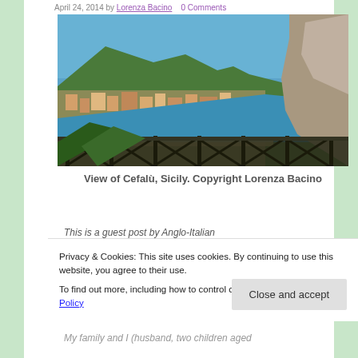April 24, 2014 by Lorenza Bacino — 0 Comments
[Figure (photo): Panoramic view of Cefalù, Sicily from above, showing the town, coastline, blue sea, surrounding hills, rocky cliff on the right, and a metal fence railing in the foreground.]
View of Cefalù, Sicily. Copyright Lorenza Bacino
This is a guest post by Anglo-Italian
Privacy & Cookies: This site uses cookies. By continuing to use this website, you agree to their use.
To find out more, including how to control cookies, see here: Cookie Policy
My family and I (husband, two children aged
Close and accept